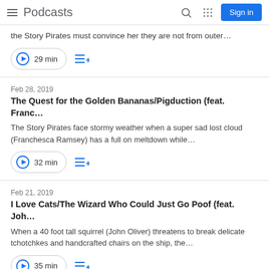Podcasts | Sign in
the Story Pirates must convince her they are not from outer…
29 min
Feb 28, 2019
The Quest for the Golden Bananas/Pigduction (feat. Franc…
The Story Pirates face stormy weather when a super sad lost cloud (Franchesca Ramsey) has a full on meltdown while…
32 min
Feb 21, 2019
I Love Cats/The Wizard Who Could Just Go Poof (feat. Joh…
When a 40 foot tall squirrel (John Oliver) threatens to break delicate tchotchkes and handcrafted chairs on the ship, the…
35 min